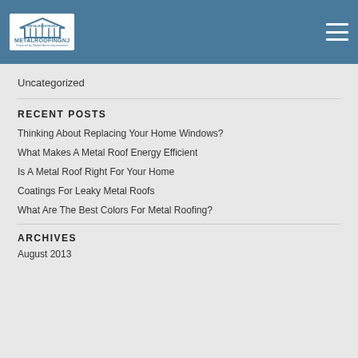[Figure (logo): MetalRoofingNJ logo - white logo with roof/bridge icon on steel blue header background. Text reads METALROOFINGNJ and Powered by Global Home Improvement]
Uncategorized
RECENT POSTS
Thinking About Replacing Your Home Windows?
What Makes A Metal Roof Energy Efficient
Is A Metal Roof Right For Your Home
Coatings For Leaky Metal Roofs
What Are The Best Colors For Metal Roofing?
ARCHIVES
August 2013